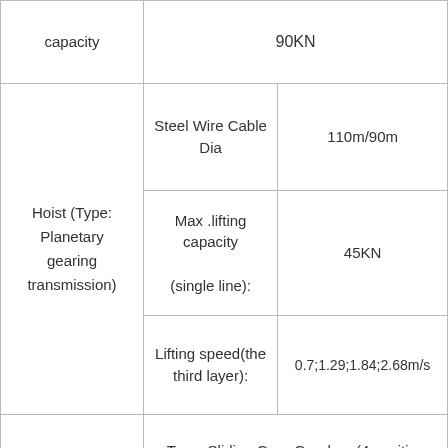| capacity |  | 90KN |
| Hoist (Type: Planetary gearing transmission) | Steel Wire Cable Dia | 110m/90m |
| Hoist (Type: Planetary gearing transmission) | Max .lifting capacity (single line): | 45KN |
| Hoist (Type: Planetary gearing transmission) | Lifting speed(the third layer): | 0.7;1.29;1.84;2.68m/s |
| Gearbox | Type: Sliding Gear Gearbox (4 positive speeds and 1 negative speed) |  |
| Oil Pump | Type: Single Gear Pump |  |
| Retraction |  |  |